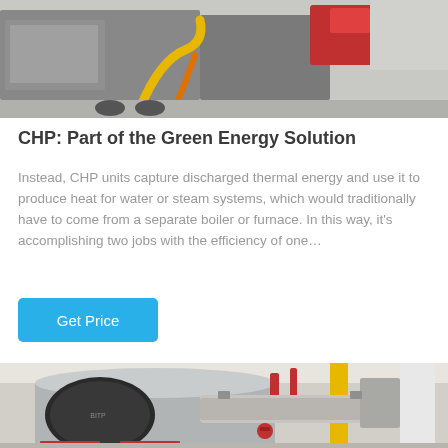[Figure (photo): Industrial machinery — CHP unit on a factory floor with yellow and orange pipes/hoses, red equipment in background, grey floor]
CHP: Part of the Green Energy Solution
Instead, CHP units capture discharged thermal energy and use it to produce heat for water or steam systems, which would traditionally have to come from a separate boiler or furnace. In this way, it's accomplishing two jobs with the efficiency of one…
Get Price
[Figure (photo): Industrial boiler room with large cylindrical silver boiler, yellow vertical pipe, red pipes and fittings, white structural column, and other industrial piping in background]